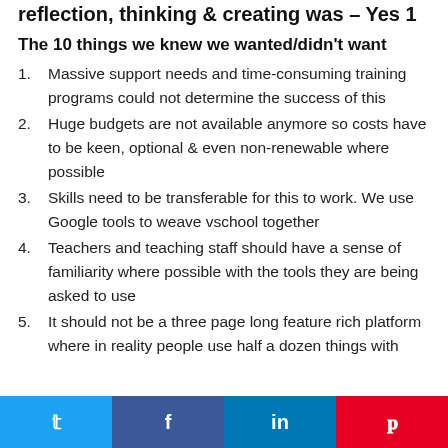reflection, thinking & creating was – Yes 1
The 10 things we knew we wanted/didn't want
Massive support needs and time-consuming training programs could not determine the success of this
Huge budgets are not available anymore so costs have to be keen, optional & even non-renewable where possible
Skills need to be transferable for this to work. We use Google tools to weave vschool together
Teachers and teaching staff should have a sense of familiarity where possible with the tools they are being asked to use
It should not be a three page long feature rich platform where in reality people use half a dozen things with